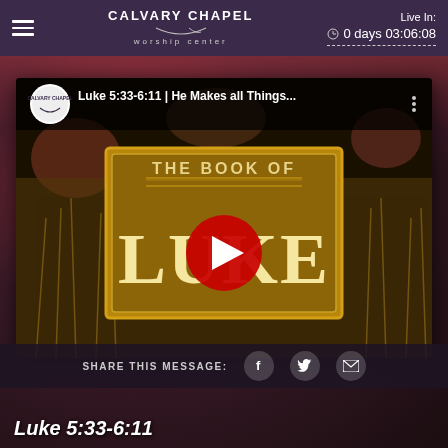CALVARY CHAPEL worship center — Live In: 0 days 03:06:08
[Figure (screenshot): YouTube video thumbnail showing 'The Book of Luke' with wheat field background, red YouTube play button, channel logo (Calvary Chapel) and title 'Luke 5:33-6:11 | He Makes all Things...' with three-dot menu]
SHARE THIS MESSAGE:
Luke 5:33-6:11